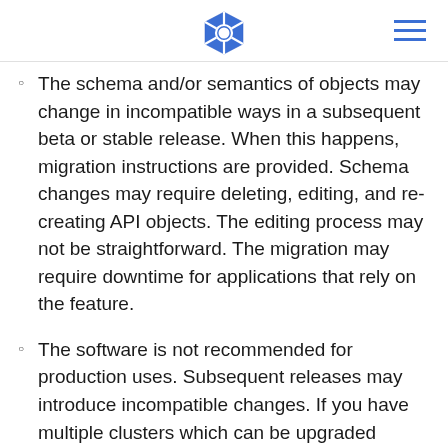Kubernetes logo and navigation
The schema and/or semantics of objects may change in incompatible ways in a subsequent beta or stable release. When this happens, migration instructions are provided. Schema changes may require deleting, editing, and re-creating API objects. The editing process may not be straightforward. The migration may require downtime for applications that rely on the feature.
The software is not recommended for production uses. Subsequent releases may introduce incompatible changes. If you have multiple clusters which can be upgraded independently, you may be